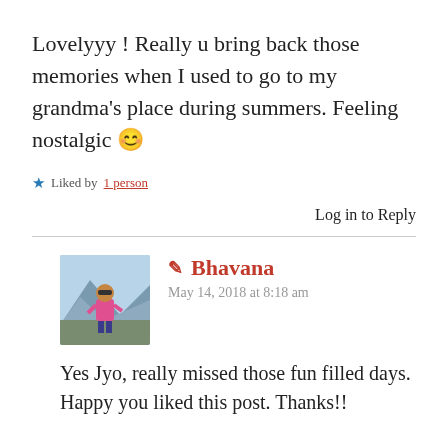Lovelyyy ! Really u bring back those memories when I used to go to my grandma's place during summers. Feeling nostalgic 😊
★ Liked by 1 person
Log in to Reply
✏ Bhavana
May 14, 2018 at 8:18 am
[Figure (photo): Avatar photo of Bhavana, a woman in a pink top outdoors with mountains in background]
Yes Jyo, really missed those fun filled days. Happy you liked this post. Thanks!!